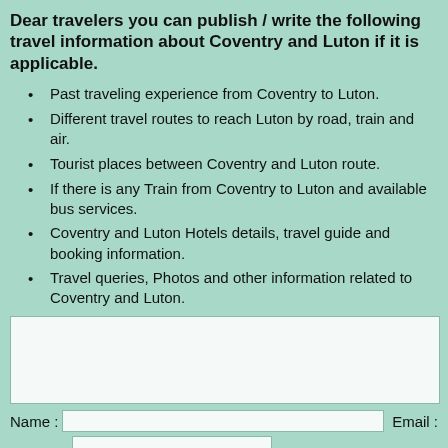Dear travelers you can publish / write the following travel information about Coventry and Luton if it is applicable.
Past traveling experience from Coventry to Luton.
Different travel routes to reach Luton by road, train and air.
Tourist places between Coventry and Luton route.
If there is any Train from Coventry to Luton and available bus services.
Coventry and Luton Hotels details, travel guide and booking information.
Travel queries, Photos and other information related to Coventry and Luton.
[Text input area]
Name : [input field]  Email : [input field]